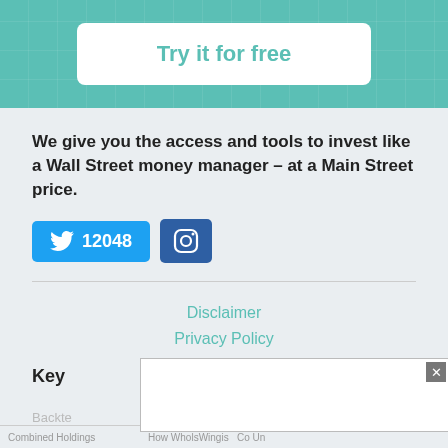[Figure (other): Teal banner with grid pattern background and a white rounded button labeled 'Try it for free' in teal text]
We give you the access and tools to invest like a Wall Street money manager – at a Main Street price.
[Figure (other): Twitter button with bird icon showing count 12048, and Instagram button with camera icon]
Disclaimer
Privacy Policy
Trademarks
TOS
Do Not Sell My Personal Information
Key
Backte
Combined Holdings                    How WholsWingis  Go Un